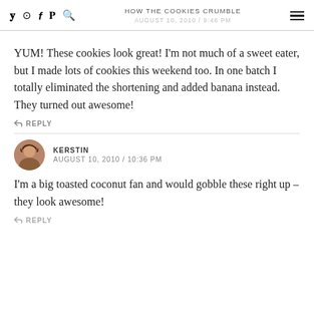HOW THE COOKIES CRUMBLE AUGUST 10, 2010 / 9:46 PM
YUM! These cookies look great! I'm not much of a sweet eater, but I made lots of cookies this weekend too. In one batch I totally eliminated the shortening and added banana instead. They turned out awesome!
REPLY
KERSTIN AUGUST 10, 2010 / 10:36 PM
I'm a big toasted coconut fan and would gobble these right up – they look awesome!
REPLY